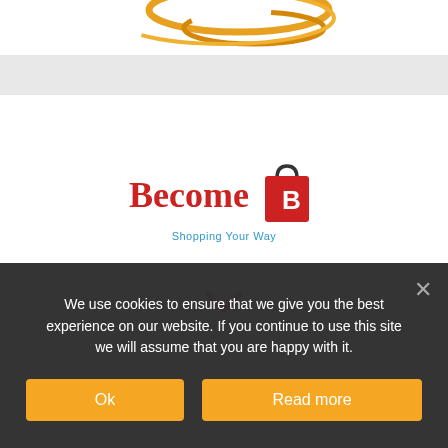[Figure (logo): Partial gold/orange decorative swirl logo at top of page, cropped]
[Figure (logo): Become logo — red serif 'Become' text with red shopping bag icon containing white 'B', tagline 'Shopping Your Way' in blue]
[Figure (other): Red chevron/down-arrow icon]
We use cookies to ensure that we give you the best experience on our website. If you continue to use this site we will assume that you are happy with it.